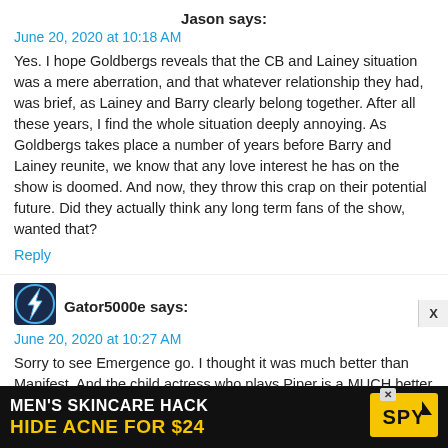Jason says:
June 20, 2020 at 10:18 AM
Yes. I hope Goldbergs reveals that the CB and Lainey situation was a mere aberration, and that whatever relationship they had, was brief, as Lainey and Barry clearly belong together. After all these years, I find the whole situation deeply annoying. As Goldbergs takes place a number of years before Barry and Lainey reunite, we know that any love interest he has on the show is doomed. And now, they throw this crap on their potential future. Did they actually think any long term fans of the show, wanted that?
Reply
[Figure (logo): Gator5000e avatar icon - blue lightning bolt on dark background]
Gator5000e says:
June 20, 2020 at 10:27 AM
Sorry to see Emergence go. I thought it was much better than Manifest. And the child actress who plays Piper is a MUCH better actor than the actor who plays the boy in
MEN'S SKINCARE HACK HIDE ACNE FOR $24